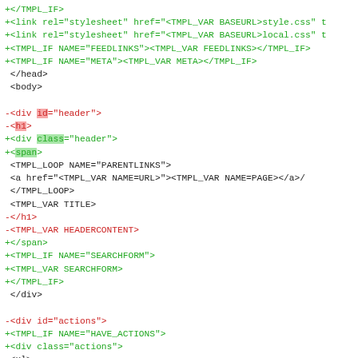+</TMPL_IF>
+<link rel="stylesheet" href="<TMPL_VAR BASEURL>style.css" t
+<link rel="stylesheet" href="<TMPL_VAR BASEURL>local.css" t
+<TMPL_IF NAME="FEEDLINKS"><TMPL_VAR FEEDLINKS></TMPL_IF>
+<TMPL_IF NAME="META"><TMPL_VAR META></TMPL_IF>
 </head>
 <body>

-<div id="header">
-<h1>
+<div class="header">
+<span>
 <TMPL_LOOP NAME="PARENTLINKS">
 <a href="<TMPL_VAR NAME=URL>"><TMPL_VAR NAME=PAGE></a>/
 </TMPL_LOOP>
 <TMPL_VAR TITLE>
-</h1>
-<TMPL_VAR HEADERCONTENT>
+</span>
+<TMPL_IF NAME="SEARCHFORM">
+<TMPL_VAR SEARCHFORM>
+</TMPL_IF>
 </div>

-<div id="actions">
+<TMPL_IF NAME="HAVE_ACTIONS">
+<div class="actions">
 <ul>
 <TMPL_IF NAME="EDITURL">
 <li><a href="<TMPL_VAR EDITURL>">Edit</a></li>
 </TMPL_IF>
-
 <TMPL_IF NAME="RECENTCHANGEURL">